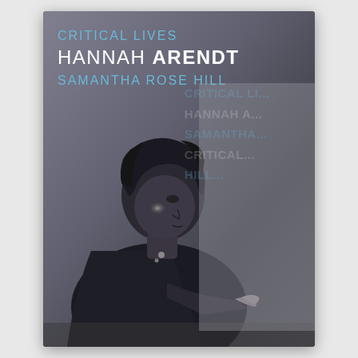[Figure (photo): Book cover for 'Hannah Arendt' in the Critical Lives series by Samantha Rose Hill. Features a black-and-white photograph of Hannah Arendt in profile, seated, leaning forward with hands near a surface. The background is grey-toned. Text overlays show the series title 'Critical Lives' in blue, the name 'HANNAH ARENDT' in white bold text, and the author 'SAMANTHA ROSE HILL' in blue. A watermark repeating pattern of these names appears in the background on the right side.]
CRITICAL LIVES
HANNAH ARENDT
SAMANTHA ROSE HILL